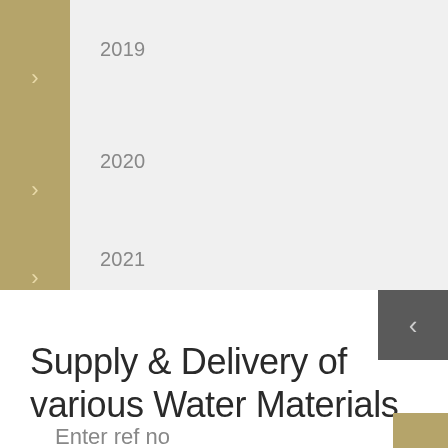> 2019
> 2020
> 2021
> 2022
Supply & Delivery of various Water Materials
Enter ref no